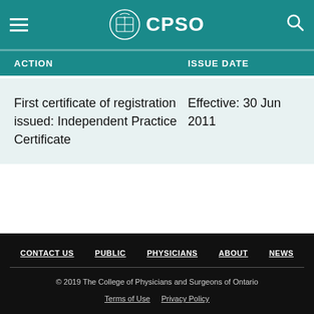CPSO
| ACTION | ISSUE DATE |
| --- | --- |
| First certificate of registration issued: Independent Practice Certificate | Effective: 30 Jun 2011 |
CONTACT US  PUBLIC  PHYSICIANS  ABOUT  NEWS
© 2019 The College of Physicians and Surgeons of Ontario
Terms of Use  Privacy Policy